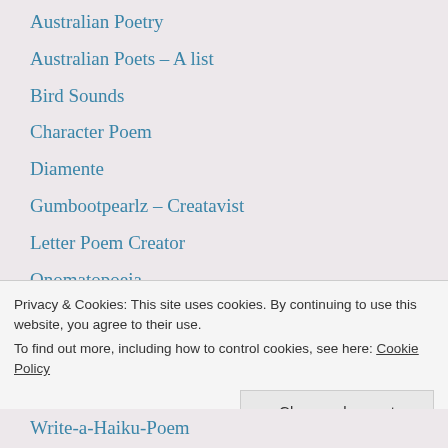Australian Poetry
Australian Poets – A list
Bird Sounds
Character Poem
Diamente
Gumbootpearlz – Creatavist
Letter Poem Creator
Onomatopoeia
Poetry Dances (forms)
Poetry Ideas
Privacy & Cookies: This site uses cookies. By continuing to use this website, you agree to their use.
To find out more, including how to control cookies, see here: Cookie Policy
Write-a-Haiku-Poem